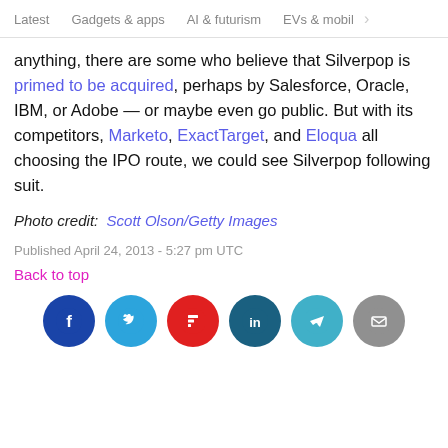Latest   Gadgets & apps   AI & futurism   EVs & mobil >
anything, there are some who believe that Silverpop is primed to be acquired, perhaps by Salesforce, Oracle, IBM, or Adobe — or maybe even go public. But with its competitors, Marketo, ExactTarget, and Eloqua all choosing the IPO route, we could see Silverpop following suit.
Photo credit: Scott Olson/Getty Images
Published April 24, 2013 - 5:27 pm UTC
Back to top
[Figure (infographic): Row of six social sharing buttons: Facebook (dark blue), Twitter (light blue), Flipboard (red), LinkedIn (dark teal), Telegram (cyan), Email (grey)]